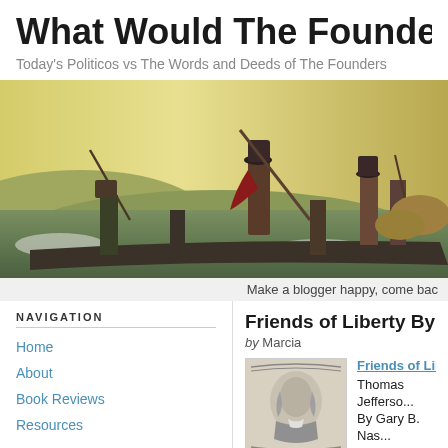What Would The Founders Thi...
Today's Politicos vs The Words and Deeds of The Founders
[Figure (illustration): Painting of Washington crossing the Delaware — soldiers in a boat on icy water, one figure standing holding a pole/oar, others with muskets and equipment]
Make a blogger happy, come bac...
NAVIGATION
Home
About
Book Reviews
Resources
Friends of Liberty By Gary...
by Marcia
[Figure (illustration): Grayscale engraving/portrait of a Founding Father, likely Thomas Jefferson or George Washington, on what appears to be currency or a formal document]
Friends of Libert...
Thomas Jefferso...
By Gary B. Nas...